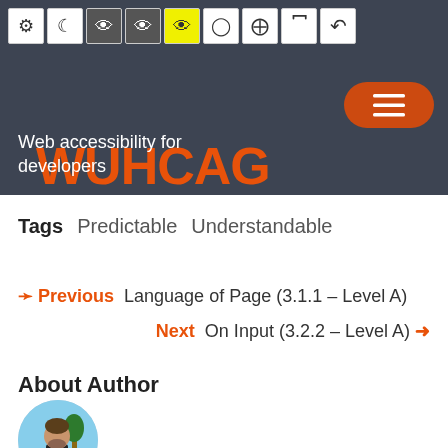WUHCAG — Web accessibility for developers
Tags  Predictable  Understandable
< Previous  Language of Page (3.1.1 – Level A)
Next  On Input (3.2.2 – Level A) >
About Author
[Figure (photo): Circular avatar photo of the author, a man outdoors with trees in background]